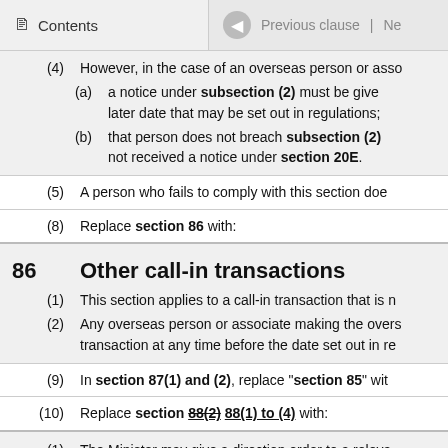Contents | Previous clause | Ne
(4) However, in the case of an overseas person or asso
(a) a notice under subsection (2) must be given later date that may be set out in regulations;
(b) that person does not breach subsection (2) not received a notice under section 20E.
(5) A person who fails to comply with this section doe
(8) Replace section 86 with:
86 Other call-in transactions
(1) This section applies to a call-in transaction that is n
(2) Any overseas person or associate making the overs transaction at any time before the date set out in re
(9) In section 87(1) and (2), replace “section 85” wit
(10) Replace section 88(2) 88(1) to (4) with:
(1) The Minister may give a direction order to a releva compliance with the conditions of the order if the o